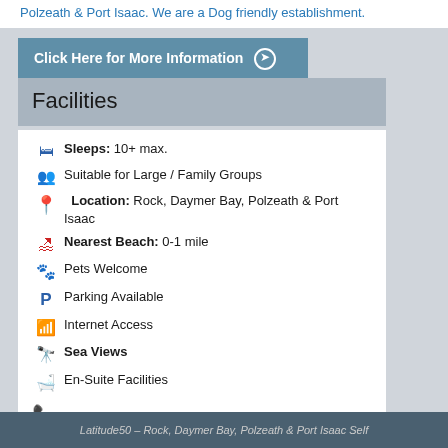Polzeath & Port Isaac. We are a Dog friendly establishment.
Click Here for More Information →
Facilities
Sleeps: 10+ max.
Suitable for Large / Family Groups
Location: Rock, Daymer Bay, Polzeath & Port Isaac
Nearest Beach: 0-1 mile
Pets Welcome
Parking Available
Internet Access
Sea Views
En-Suite Facilities
01208 869090
Click Here for more information about holidays at Latitude50,  Rock, Daymer Bay, Polzeath & Port Isaac
Latitude50 – Rock, Daymer Bay, Polzeath & Port Isaac Self